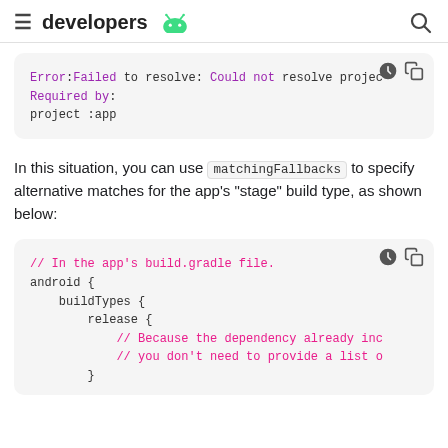developers
[Figure (screenshot): Code block showing error: Error:Failed to resolve: Could not resolve project. Required by: project :app]
In this situation, you can use matchingFallbacks to specify alternative matches for the app's "stage" build type, as shown below:
[Figure (screenshot): Code block showing: // In the app's build.gradle file. android { buildTypes { release { // Because the dependency already inc // you don't need to provide a list o }]